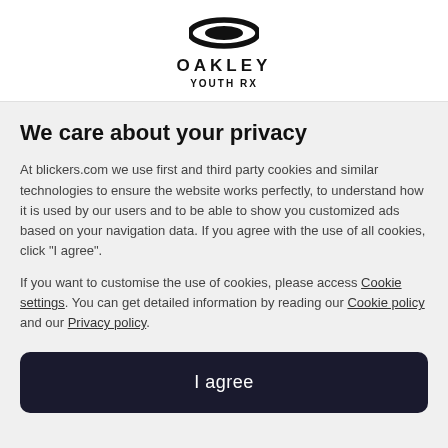[Figure (logo): Oakley logo — ellipse/lens icon with OAKLEY wordmark and YOUTH RX subtitle]
We care about your privacy
At blickers.com we use first and third party cookies and similar technologies to ensure the website works perfectly, to understand how it is used by our users and to be able to show you customized ads based on your navigation data. If you agree with the use of all cookies, click "I agree".
If you want to customise the use of cookies, please access Cookie settings. You can get detailed information by reading our Cookie policy and our Privacy policy.
I agree